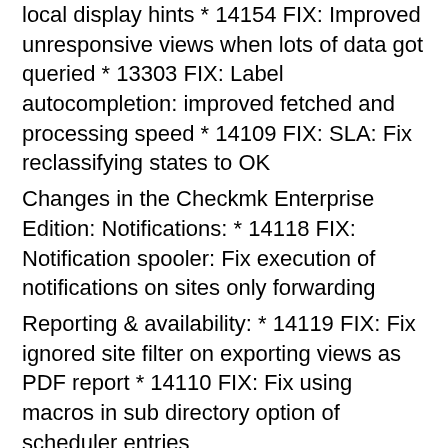local display hints * 14154 FIX: Improved unresponsive views when lots of data got queried * 13303 FIX: Label autocompletion: improved fetched and processing speed * 14109 FIX: SLA: Fix reclassifying states to OK
Changes in the Checkmk Enterprise Edition: Notifications: * 14118 FIX: Notification spooler: Fix execution of notifications on sites only forwarding
Reporting & availability: * 14119 FIX: Fix ignored site filter on exporting views as PDF report * 14110 FIX: Fix using macros in sub directory option of scheduler entries
Setup, site management: * 13011 Add support for Ubuntu 22.04
User interface: * 14078 FIX: Fix deletion of users with none-ASCII characters in distributed setups